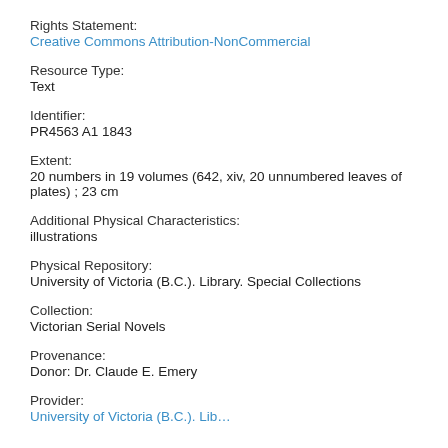Rights Statement:
Creative Commons Attribution-NonCommercial
Resource Type:
Text
Identifier:
PR4563 A1 1843
Extent:
20 numbers in 19 volumes (642, xiv, 20 unnumbered leaves of plates) ; 23 cm
Additional Physical Characteristics:
illustrations
Physical Repository:
University of Victoria (B.C.). Library. Special Collections
Collection:
Victorian Serial Novels
Provenance:
Donor: Dr. Claude E. Emery
Provider:
University of Victoria (B.C.). Library